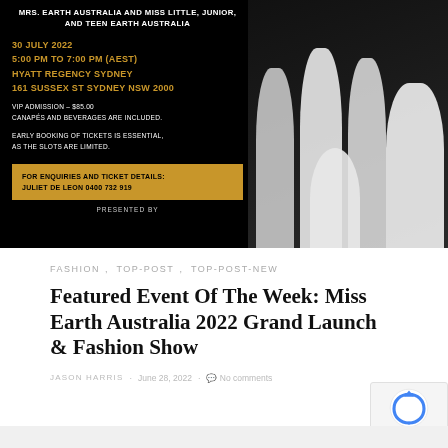[Figure (photo): Event promotional banner for Mrs. Earth Australia and Miss Little, Junior, and Teen Earth Australia event at Hyatt Regency Sydney on 30 July 2022. Dark background with golden text details including date, time, location, VIP admission price of $85.00, canapes and beverages included, early booking notice. Yellow banner at bottom for enquiries contact: Juliet De Leon 0400 732 919. Right side shows women in white formal attire. Bottom text: Presented By.]
FASHION,   TOP-POST,   TOP-POST-NEW
Featured Event Of The Week: Miss Earth Australia 2022 Grand Launch & Fashion Show
JASON HARRIS · June 28, 2022 · No comments